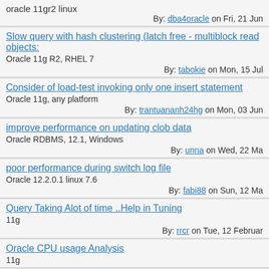oracle 11gr2 linux
By: dba4oracle on Fri, 21 Jun
Slow query with hash clustering (latch free - multiblock read objects)
Oracle 11g R2, RHEL 7
By: tabokie on Mon, 15 Jul
Consider of load-test invoking only one insert statement
Oracle 11g, any platform
By: trantuananh24hg on Mon, 03 Jun
improve performance on updating clob data
Oracle RDBMS, 12.1, Windows
By: unna on Wed, 22 Ma
poor performance during switch log file
Oracle 12.2.0.1 linux 7.6
By: fabi88 on Sun, 12 Ma
Query Taking Alot of time ..Help in Tuning
11g
By: rrcr on Tue, 12 Februar
Oracle CPU usage Analysis
11g